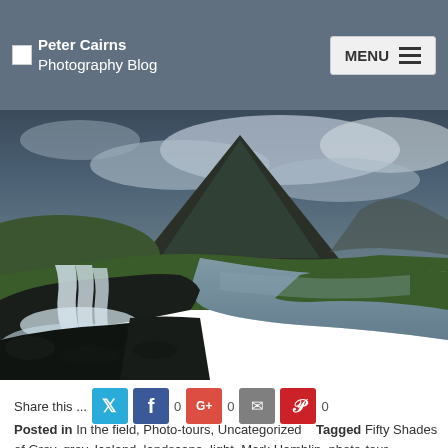Peter Cairns Photography Blog  MENU
[Figure (photo): Landscape photo of Kirkjufell mountain in Iceland with a silky waterfall in the foreground and a reflective river leading to the iconic conical mountain peak under a dramatic cloudy sky at dusk.]
Share this ... 0 0 0
Posted in In the field, Photo-tours, Uncategorized   Tagged Fifty Shades of Grey, grey, Iceland, landscape, light, Mark Hamblin, photo-tour, photography, summer, weather, wildlife